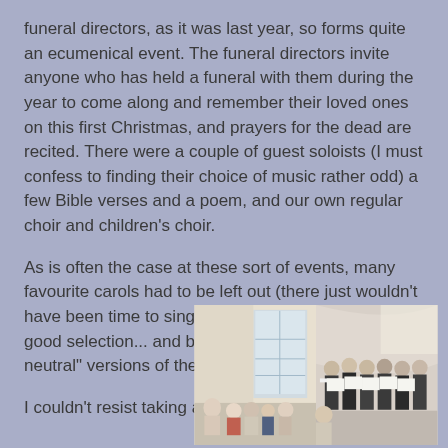funeral directors, as it was last year, so forms quite an ecumenical event. The funeral directors invite anyone who has held a funeral with them during the year to come along and remember their loved ones on this first Christmas, and prayers for the dead are recited. There were a couple of guest soloists (I must confess to finding their choice of music rather odd) a few Bible verses and a poem, and our own regular choir and children's choir.

As is often the case at these sort of events, many favourite carols had to be left out (there just wouldn't have been time to sing everything) but there was a good selection... and best of all, no horrible "gender neutral" versions of the traditional carols!

I couldn't resist taking a few photos...
[Figure (photo): Interior of a church with people gathered, a crucifix visible on the left wall, choir members singing from books on the right side, modern church architecture.]